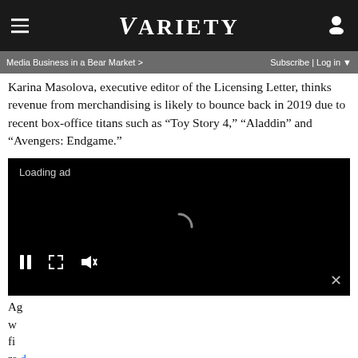VARIETY
Media Business in a Bear Market > | Subscribe | Log in
Karina Masolova, executive editor of the Licensing Letter, thinks revenue from merchandising is likely to bounce back in 2019 due to recent box-office titans such as “Toy Story 4,” “Aladdin” and “Avengers: Endgame.”
[Figure (screenshot): Black video ad player with Loading ad text, spinning loading indicator, playback controls (pause, expand, mute), and close button]
A... g w... fi... re...d hi... si... m...
Marty Brochstein, the senior VP of Licensing International.